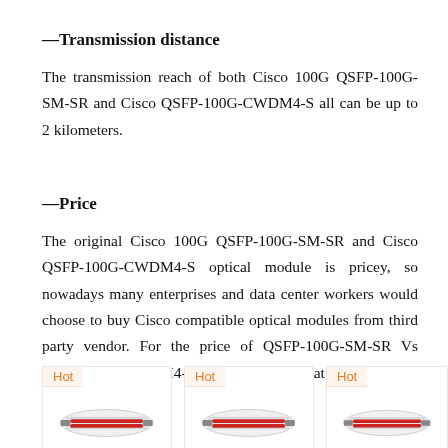—Transmission distance
The transmission reach of both Cisco 100G QSFP-100G-SM-SR and Cisco QSFP-100G-CWDM4-S all can be up to 2 kilometers.
—Price
The original Cisco 100G QSFP-100G-SM-SR and Cisco QSFP-100G-CWDM4-S optical module is pricey, so nowadays many enterprises and data center workers would choose to buy Cisco compatible optical modules from third party vendor. For the price of QSFP-100G-SM-SR Vs QSFP-100G-CWDM4-S, they are identical at fs.com.
[Figure (photo): Three product cards each with a 'Hot' badge and a product image of optical modules]
[Figure (photo): Product card 2 with Hot badge]
[Figure (photo): Product card 3 with Hot badge]